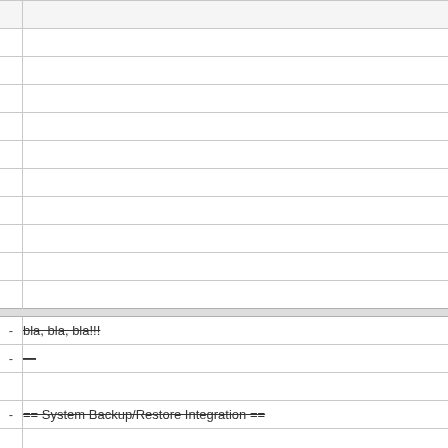|  |  |
|  |  |
|  |  |
|  |  |
|  |  |
|  |  |
|  |  |
|  |  |
|  |  |
|  |  |
|  |  |
| - | bla, bla, bla!!! |
| - | — |
|  |  |
| - | == System Backup/Restore Integration == |
|  |  |
|  |  |
|  |  |
| - | As of release >=0.1.8 QBW is integrated into the N900 system back... described in the SDK |